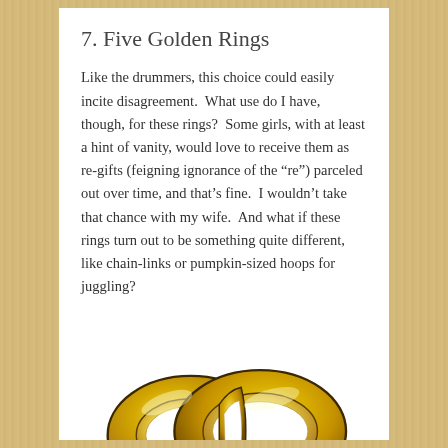7. Five Golden Rings
Like the drummers, this choice could easily incite disagreement.  What use do I have, though, for these rings?  Some girls, with at least a hint of vanity, would love to receive them as re-gifts (feigning ignorance of the “re”) parceled out over time, and that’s fine.  I wouldn’t take that chance with my wife.  And what if these rings turn out to be something quite different, like chain-links or pumpkin-sized hoops for juggling?
[Figure (illustration): Two interlocked golden wedding rings, rendered as a clipart illustration with yellow and gold gradient shading and dark outlines.]